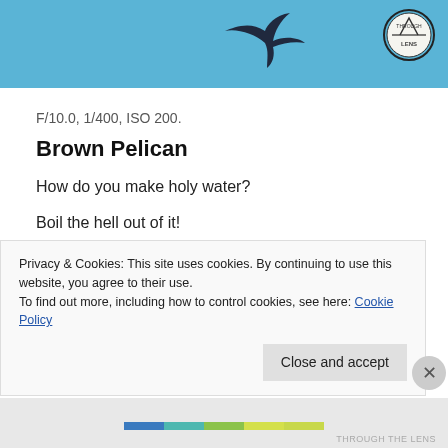[Figure (photo): Blue sky background with a bird silhouette (pelican) flying, and a circular logo/badge in the top right corner.]
F/10.0, 1/400, ISO 200.
Brown Pelican
How do you make holy water?
Boil the hell out of it!
Interesting Fact: Though they have an awkward
Privacy & Cookies: This site uses cookies. By continuing to use this website, you agree to their use.
To find out more, including how to control cookies, see here: Cookie Policy
Close and accept